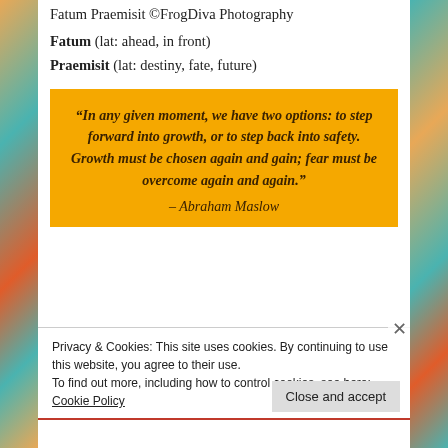Fatum Praemisit ©FrogDiva Photography
Fatum (lat: ahead, in front)
Praemisit (lat: destiny, fate, future)
[Figure (infographic): Yellow/amber quote box with bold italic quote text: “In any given moment, we have two options: to step forward into growth, or to step back into safety. Growth must be chosen again and gain; fear must be overcome again and again.” – Abraham Maslow]
Privacy & Cookies: This site uses cookies. By continuing to use this website, you agree to their use.
To find out more, including how to control cookies, see here:
Cookie Policy
Close and accept